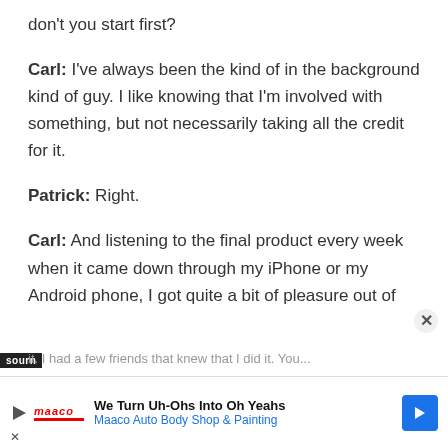don't you start first?
Carl: I've always been the kind of in the background kind of guy. I like knowing that I'm involved with something, but not necessarily taking all the credit for it.
Patrick: Right.
Carl: And listening to the final product every week when it came down through my iPhone or my Android phone, I got quite a bit of pleasure out of it. I had a few friends that knew that I did it. You...
We Turn Uh-Ohs Into Oh Yeahs Maaco Auto Body Shop & Painting